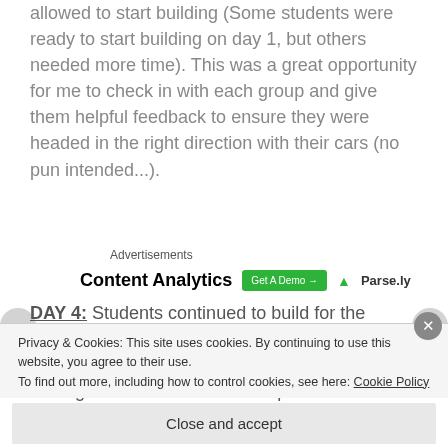allowed to start building (Some students were ready to start building on day 1, but others needed more time). This was a great opportunity for me to check in with each group and give them helpful feedback to ensure they were headed in the right direction with their cars (no pun intended...).
Advertisements
[Figure (other): Content Analytics advertisement banner with green Get A Demo button and Parsely logo]
DAY 4: Students continued to build for the entire class period. They needed little help or instruction from me on this day. I mostly managed the materials and helped to
Privacy & Cookies: This site uses cookies. By continuing to use this website, you agree to their use. To find out more, including how to control cookies, see here: Cookie Policy
Close and accept